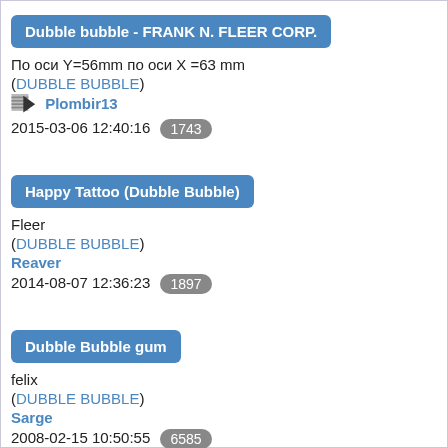Dubble bubble - FRANK N. FLEER CORP.
По оси Y=56mm по оси X =63 mm
(DUBBLE BUBBLE)
Plombir13
2015-03-06 12:40:16  1743
Happy Tattoo (Dubble Bubble)
Fleer
(DUBBLE BUBBLE)
Reaver
2014-08-07 12:36:23  1897
Dubble Bubble gum
felix
(DUBBLE BUBBLE)
Sarge
2008-02-15 10:50:55  6585